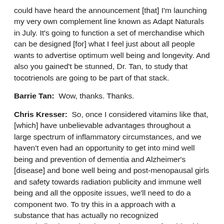could have heard the announcement [that] I'm launching my very own complement line known as Adapt Naturals in July. It's going to function a set of merchandise which can be designed [for] what I feel just about all people wants to advertise optimum well being and longevity. And also you gained't be stunned, Dr. Tan, to study that tocotrienols are going to be part of that stack.
Barrie Tan:  Wow, thanks. Thanks.
Chris Kresser:  So, once I considered vitamins like that, [which] have unbelievable advantages throughout a large spectrum of inflammatory circumstances, and we haven't even had an opportunity to get into mind well being and prevention of dementia and Alzheimer's [disease] and bone well being and post-menopausal girls and safety towards radiation publicity and immune well being and all the opposite issues, we'll need to do a component two. To try this in a approach with a substance that has actually no recognized contraindications, that doesn't have uncomfortable side effects, that doesn't put you at larger threat for